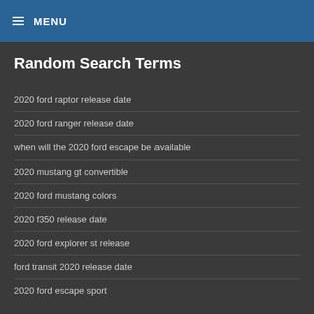MENU
Random Search Terms
2020 ford raptor release date
2020 ford ranger release date
when will the 2020 ford escape be available
2020 mustang gt convertible
2020 ford mustang colors
2020 f350 release date
2020 ford explorer st release
ford transit 2020 release date
2020 ford escape sport